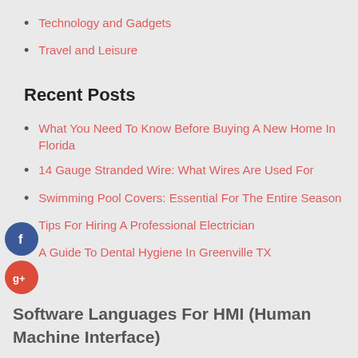Technology and Gadgets
Travel and Leisure
Recent Posts
What You Need To Know Before Buying A New Home In Florida
14 Gauge Stranded Wire: What Wires Are Used For
Swimming Pool Covers: Essential For The Entire Season
Tips For Hiring A Professional Electrician
A Guide To Dental Hygiene In Greenville TX
Software Languages For HMI (Human Machine Interface)